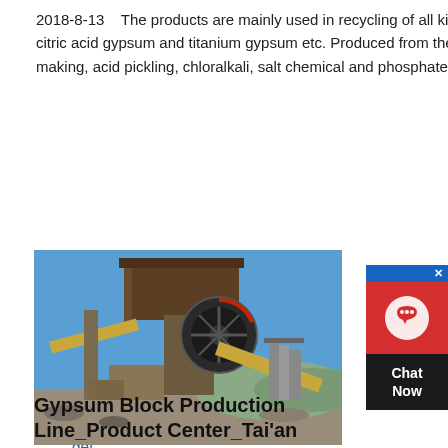2018-8-13   The products are mainly used in recycling of all kinds of waste such as FGD gypsum, calcium sulfite powder, phosphogypsum, citric acid gypsum and titanium gypsum etc. Produced from the industries including coal-fired power plant, metallurgy, chemical, paper-making, acid pickling, chloralkali, salt chemical and phosphate fertilizer etc.
get price
[Figure (photo): Industrial crushing/grinding machine equipment outdoors at a quarry site with conveyors, a large flywheel, metal framework, against a blue sky background.]
Gypsum Block Production Line_Product Center_Tai'an